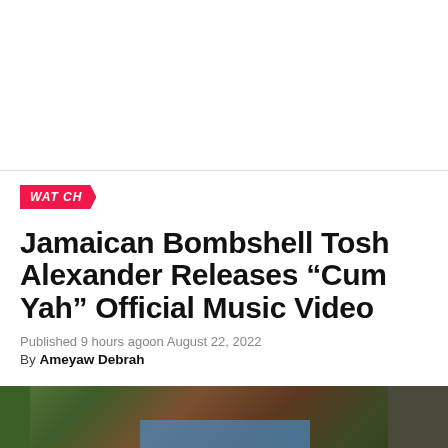[Figure (photo): White space / advertisement area at top of page]
WATCH
Jamaican Bombshell Tosh Alexander Releases “Cum Yah” Official Music Video
Published 9 hours agoon August 22, 2022
By Ameyaw Debrah
[Figure (photo): Partial photo strip at bottom showing colorful background scene]